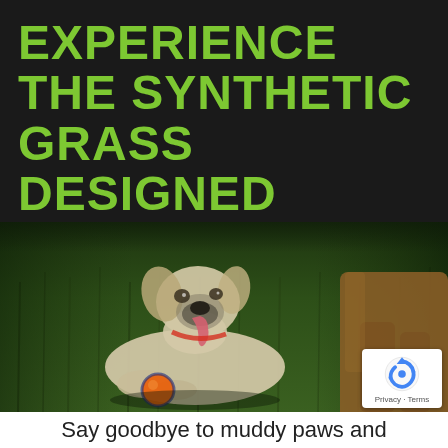EXPERIENCE THE SYNTHETIC GRASS DESIGNED SPECIFICALLY FOR DOGS
[Figure (photo): A happy white/cream dog lying on dark green synthetic grass with an orange ball in front of it, tongue out, smiling. Partial view of a brown/golden dog on the right side. A reCAPTCHA badge (Privacy · Terms) is visible in the lower right corner of the photo.]
Say goodbye to muddy paws and